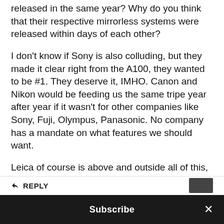released in the same year? Why do you think that their respective mirrorless systems were released within days of each other?
I don't know if Sony is also colluding, but they made it clear right from the A100, they wanted to be #1. They deserve it, IMHO. Canon and Nikon would be feeding us the same tripe year after year if it wasn't for other companies like Sony, Fuji, Olympus, Panasonic. No company has a mandate on what features we should want.
Leica of course is above and outside all of this, and is a brand like no other. Not all of their products are desirable, though. But that's another conversation.
REPLY
Subscribe